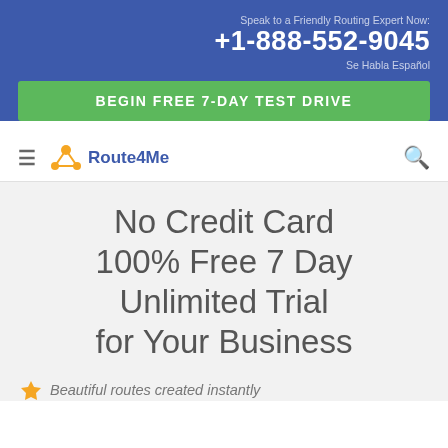Speak to a Friendly Routing Expert Now: +1-888-552-9045 Se Habla Español
[Figure (other): Green CTA button: BEGIN FREE 7-DAY TEST DRIVE]
[Figure (logo): Route4Me logo with orange fork/network icon]
No Credit Card 100% Free 7 Day Unlimited Trial for Your Business
Beautiful routes created instantly